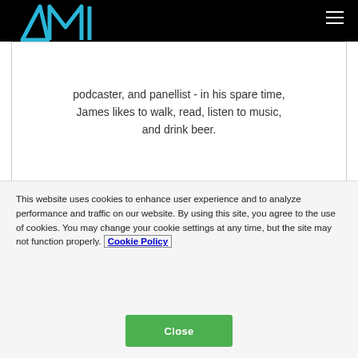AMI
podcaster, and panellist - in his spare time, James likes to walk, read, listen to music, and drink beer.
Sponsored
This website uses cookies to enhance user experience and to analyze performance and traffic on our website. By using this site, you agree to the use of cookies. You may change your cookie settings at any time, but the site may not function properly. Cookie Policy
Close